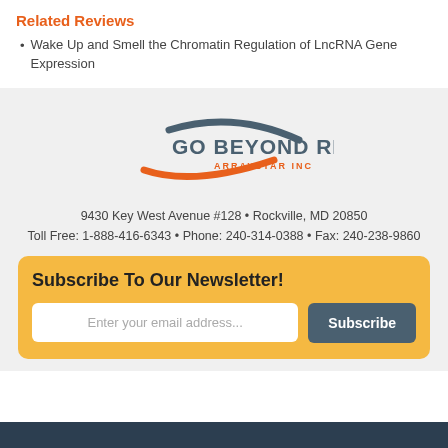Related Reviews
Wake Up and Smell the Chromatin Regulation of LncRNA Gene Expression
[Figure (logo): Go Beyond RNA - Arraystar Inc logo with orange swoosh and dark blue text]
9430 Key West Avenue #128 • Rockville, MD 20850
Toll Free: 1-888-416-6343 • Phone: 240-314-0388 • Fax: 240-238-9860
Subscribe To Our Newsletter!
Enter your email address...
Subscribe